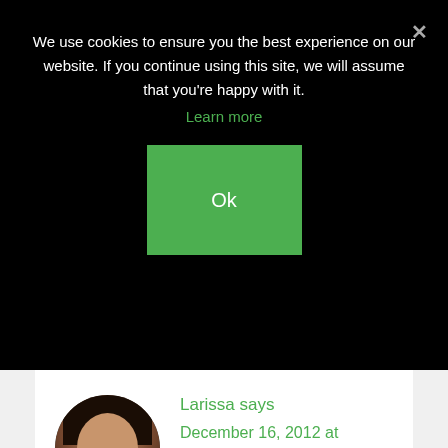We use cookies to ensure you the best experience on our website. If you continue using this site, we will assume that you're happy with it.
Learn more
Ok
Larissa says December 16, 2012 at 12:26 PM
[Figure (photo): Circular profile photo of a woman smiling]
I think you're right about import/export but I also believe it has a lot to do with parental intent. My parents meant for me to be Larissa-like-Lisa and so were dismayed when people called me anything else. As an adult, I'm pretty good-humored about correcting people. I actually see Larissa-like-Melissa as a